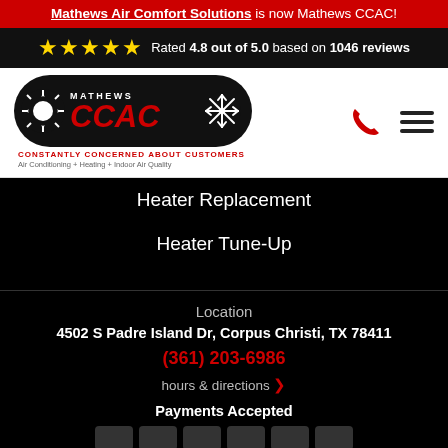Mathews Air Comfort Solutions is now Mathews CCAC!
Rated 4.8 out of 5.0 based on 1046 reviews
[Figure (logo): Mathews CCAC logo — black pill shape with sun icon, MATHEWS CCAC text in red italic, snowflake icon. Tagline: CONSTANTLY CONCERNED ABOUT CUSTOMERS, Air Conditioning + Heating + Indoor Air Quality]
Heater Replacement
Heater Tune-Up
Location
4502 S Padre Island Dr, Corpus Christi, TX 78411
(361) 203-6986
hours & directions ❯
Payments Accepted